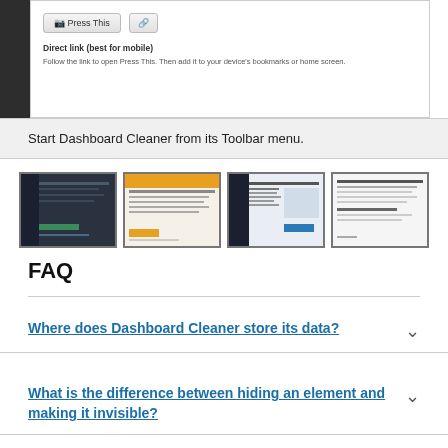[Figure (screenshot): Screenshot showing Press This button and Direct link (best for mobile) section with instructions to follow the link to open Press This and add it to device bookmarks or home screen.]
Start Dashboard Cleaner from its Toolbar menu.
[Figure (screenshot): Four thumbnail screenshots of Dashboard Cleaner plugin interface pages.]
FAQ
Where does Dashboard Cleaner store its data?
What is the difference between hiding an element and making it invisible?